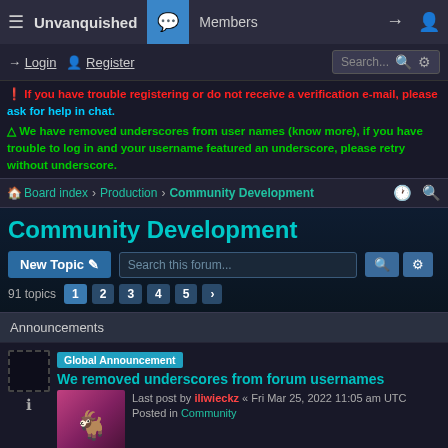≡  Unvanquished  💬  Members  →  👤+
Login  Register  Search...
❗ If you have trouble registering or do not receive a verification e-mail, please ask for help in chat.
△ We have removed underscores from user names (know more), if you have trouble to log in and your username featured an underscore, please retry without underscore.
Board index › Production › Community Development
Community Development
New Topic  Search this forum...  91 topics  1 2 3 4 5 ›
Announcements
Global Announcement
We removed underscores from forum usernames
Last post by iliwieckz « Fri Mar 25, 2022 11:05 am UTC
Posted in Community
Locked  Global guidelines